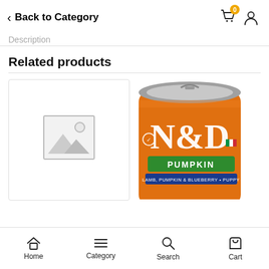Back to Category
Description
Related products
[Figure (photo): Placeholder image with mountain/landscape icon in a grey bordered box]
[Figure (photo): N&D Pumpkin dog food can - orange can with N&D logo, PUMPKIN label, Lamb Pumpkin & Blueberry Puppy text]
Home  Category  Search  Cart